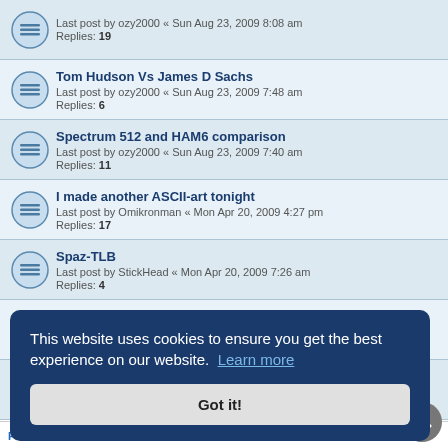Last post by ozy2000 « Sun Aug 23, 2009 8:08 am
Replies: 19
Tom Hudson Vs James D Sachs
Last post by ozy2000 « Sun Aug 23, 2009 7:48 am
Replies: 6
Spectrum 512 and HAM6 comparison
Last post by ozy2000 « Sun Aug 23, 2009 7:40 am
Replies: 11
I made another ASCII-art tonight
Last post by Omikronman « Mon Apr 20, 2009 4:27 pm
Replies: 17
Spaz-TLB
Last post by StickHead « Mon Apr 20, 2009 7:26 am
Replies: 4
Celebrating the Atari ST years
Last post by christos « Sat Apr 11, 2009 2:36 am
Replies: 14
Agent .t. / Cream
This website uses cookies to ensure you get the best experience on our website. Learn more
Got it!
jump to
FORUM PERMISSIONS